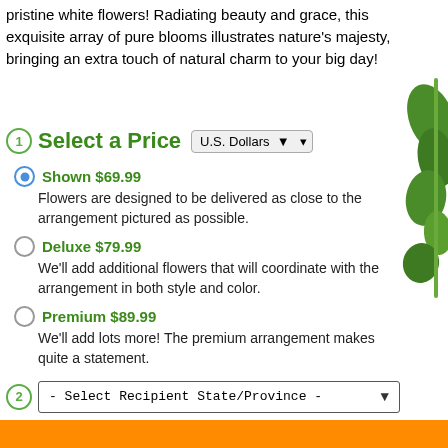pristine white flowers! Radiating beauty and grace, this exquisite array of pure blooms illustrates nature's majesty, bringing an extra touch of natural charm to your big day!
1 Select a Price  U.S. Dollars
Shown $69.99 — Flowers are designed to be delivered as close to the arrangement pictured as possible.
Deluxe $79.99 — We'll add additional flowers that will coordinate with the arrangement in both style and color.
Premium $89.99 — We'll add lots more! The premium arrangement makes quite a statement.
2 - Select Recipient State/Province -
3 - Select Location Type -
4 - Select Delivery Date -